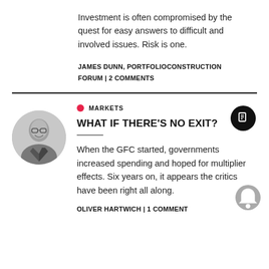Investment is often compromised by the quest for easy answers to difficult and involved issues. Risk is one.
JAMES DUNN, PORTFOLIOCONSTRUCTION FORUM | 2 COMMENTS
MARKETS
WHAT IF THERE'S NO EXIT?
When the GFC started, governments increased spending and hoped for multiplier effects. Six years on, it appears the critics have been right all along.
OLIVER HARTWICH | 1 COMMENT